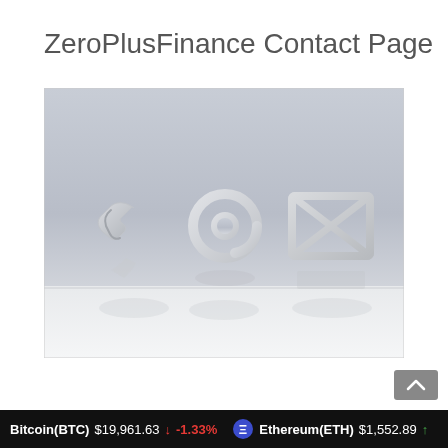ZeroPlusFinance Contact Page
[Figure (photo): Photo of three white 3D contact icons — a telephone handset, an at-sign (@), and an envelope with an X pattern — arranged on a white shelf against a gray textured wall background.]
Bitcoin(BTC) $19,961.63 ↓ -1.33%   Ethereum(ETH) $1,552.89 ↑